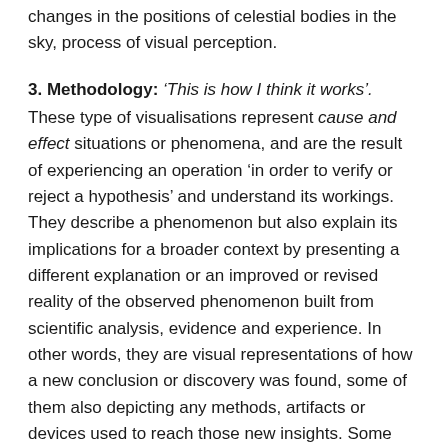changes in the positions of celestial bodies in the sky, process of visual perception.
3. Methodology: ‘This is how I think it works’.
These type of visualisations represent cause and effect situations or phenomena, and are the result of experiencing an operation ‘in order to verify or reject a hypothesis’ and understand its workings. They describe a phenomenon but also explain its implications for a broader context by presenting a different explanation or an improved or revised reality of the observed phenomenon built from scientific analysis, evidence and experience. In other words, they are visual representations of how a new conclusion or discovery was found, some of them also depicting any methods, artifacts or devices used to reach those new insights. Some examples are experiments on light and colour, and how sun spots can be observed.